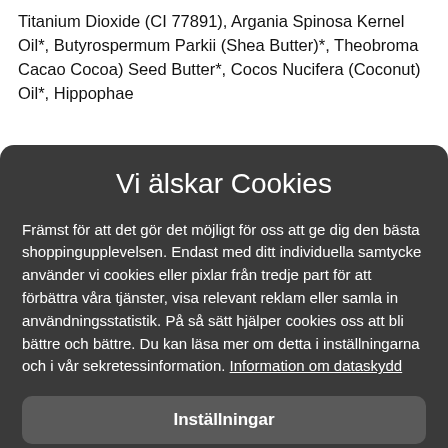Titanium Dioxide (CI 77891), Argania Spinosa Kernel Oil*, Butyrospermum Parkii (Shea Butter)*, Theobroma Cacao Cocoa) Seed Butter*, Cocos Nucifera (Coconut) Oil*, Hippophae
Vi älskar Cookies
Främst för att det gör det möjligt för oss att ge dig den bästa shoppingupplevelsen. Endast med ditt individuella samtycke använder vi cookies eller pixlar från tredje part för att förbättra våra tjänster, visa relevant reklam eller samla in användningsstatistik. På så sätt hjälper cookies oss att bli bättre och bättre. Du kan läsa mer om detta i inställningarna och i vår sekretessinformation. Information om dataskydd
Inställningar
Avvisa alla
Acceptera alla